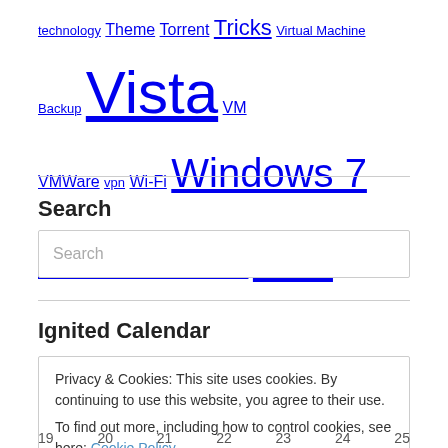technology Theme Torrent Tricks Virtual Machine Backup Vista VM VMWare vpn Wi-Fi Windows 7 Workstation XP
Search
Search (search box placeholder)
Ignited Calendar
Privacy & Cookies: This site uses cookies. By continuing to use this website, you agree to their use.
To find out more, including how to control cookies, see here: Cookie Policy
Close and accept
19  20  21  22  23  24  25